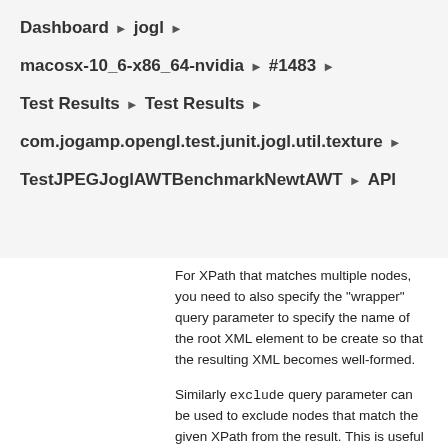Dashboard ▶ jogl ▶
macosx-10_6-x86_64-nvidia ▶ #1483 ▶
Test Results ▶ Test Results ▶
com.jogamp.opengl.test.junit.jogl.util.texture ▶
TestJPEGJoglAWTBenchmarkNewtAWT ▶ API
For XPath that matches multiple nodes, you need to also specify the "wrapper" query parameter to specify the name of the root XML element to be create so that the resulting XML becomes well-formed.
Similarly exclude query parameter can be used to exclude nodes that match the given XPath from the result. This is useful for trimming down the amount of data you fetch (but again see below). This query parameter can be specified multiple times.
XPath filtering is powerful, and you can have it only return a very small data, but note that the server still